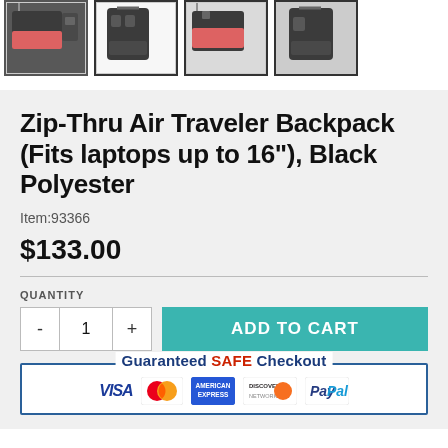[Figure (photo): Four thumbnail images of a black backpack shown from different angles]
Zip-Thru Air Traveler Backpack (Fits laptops up to 16"), Black Polyester
Item:93366
$133.00
QUANTITY
ADD TO CART
Guaranteed SAFE Checkout
[Figure (infographic): Payment method icons: VISA, MasterCard, American Express, Discover, PayPal]